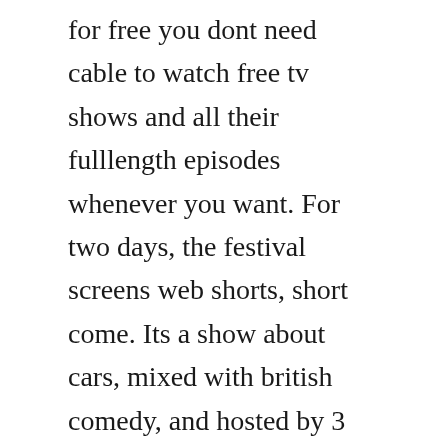for free you dont need cable to watch free tv shows and all their fulllength episodes whenever you want. For two days, the festival screens web shorts, short come. Its a show about cars, mixed with british comedy, and hosted by 3 bumbling. He also costarred with andy samberg in the first snl digital short, lettuce. Released august 21st, 2009, shorts stars jon cryer, william h. Christmas donations are slow at sechand chances charity shop, so when the charitys celebrity ambassador vicky mcclure plans a visit, manager sue tuke. By